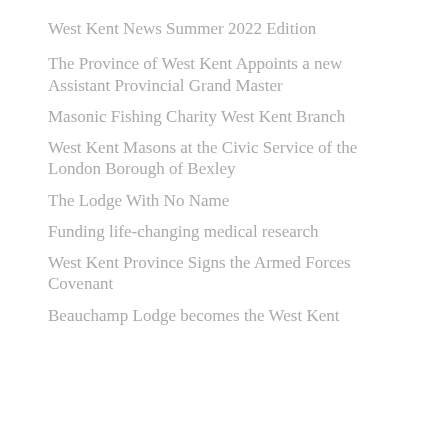West Kent News Summer 2022 Edition
The Province of West Kent Appoints a new Assistant Provincial Grand Master
Masonic Fishing Charity West Kent Branch
West Kent Masons at the Civic Service of the London Borough of Bexley
The Lodge With No Name
Funding life-changing medical research
West Kent Province Signs the Armed Forces Covenant
Beauchamp Lodge becomes the West Kent